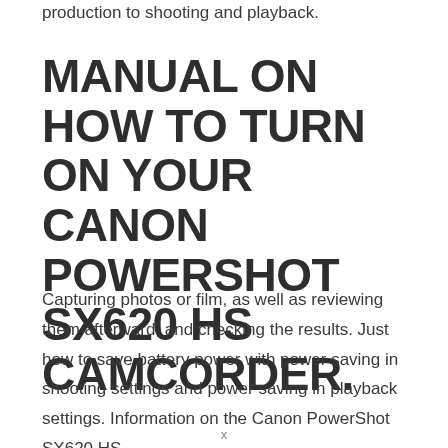production to shooting and playback.
MANUAL ON HOW TO TURN ON YOUR CANON POWERSHOT SX620 HS CAMCORDER.
Capturing photos or film, as well as reviewing them afterward, and checking the results. Just how to save battery power with power saving in shooting settings and power saving in playback settings. Information on the Canon PowerShot SX620 HS
x